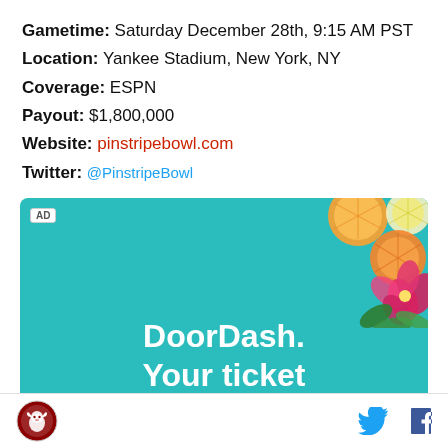Gametime: Saturday December 28th, 9:15 AM PST
Location: Yankee Stadium, New York, NY
Coverage: ESPN
Payout: $1,800,000
Website: pinstripebowl.com
Twitter: @PinstripeBowl
[Figure (photo): DoorDash advertisement banner with teal background, citrus slices and hibiscus flower decoration in top-right corner, bold white text reading 'DoorDash. Your ticket']
Site logo, Twitter icon, Facebook icon